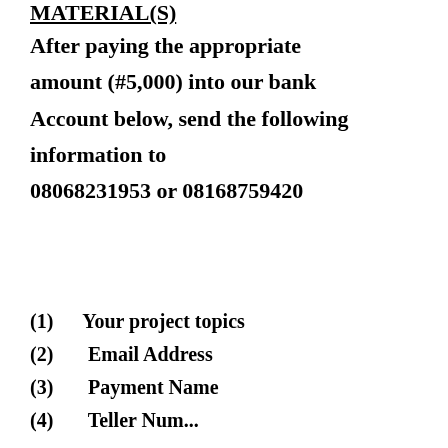MATERIAL(S)
After paying the appropriate amount (#5,000) into our bank Account below, send the following information to 08068231953 or 08168759420
(1)    Your project topics
(2)    Email Address
(3)    Payment Name
(4)    Teller Number